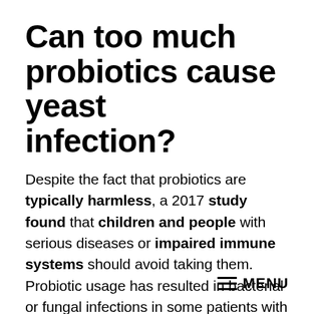Can too much probiotics cause yeast infection?
Despite the fact that probiotics are typically harmless, a 2017 study found that children and people with serious diseases or impaired immune systems should avoid taking them. Probiotic usage has resulted in bacterial or fungal infections in some patients with these disorders.